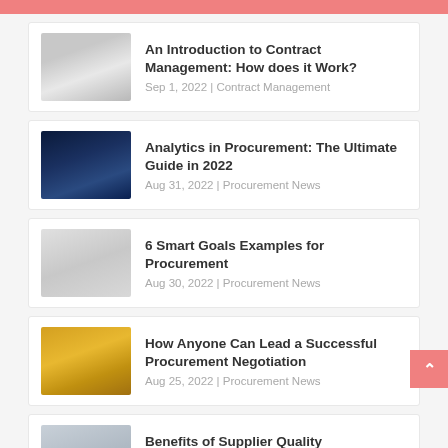An Introduction to Contract Management: How does it Work? | Sep 1, 2022 | Contract Management
Analytics in Procurement: The Ultimate Guide in 2022 | Aug 31, 2022 | Procurement News
6 Smart Goals Examples for Procurement | Aug 30, 2022 | Procurement News
How Anyone Can Lead a Successful Procurement Negotiation | Aug 25, 2022 | Procurement News
Benefits of Supplier Quality Management | Aug 24, 2022 | Supplier Management